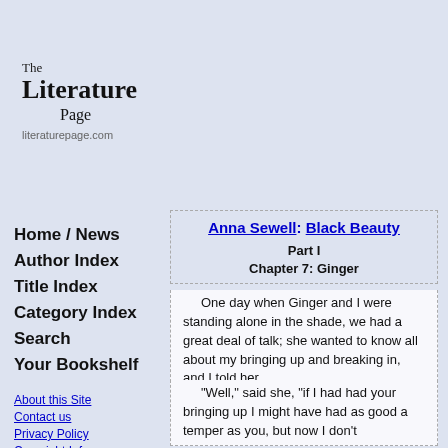The Literature Page
literaturepage.com
Home / News
Author Index
Title Index
Category Index
Search
Your Bookshelf
About this Site
Contact us
Privacy Policy
Copyright Info
Anna Sewell: Black Beauty
Part I
Chapter 7: Ginger
One day when Ginger and I were standing alone in the shade, we had a great deal of talk; she wanted to know all about my bringing up and breaking in, and I told her.
"Well," said she, "if I had had your bringing up I might have had as good a temper as you, but now I don't